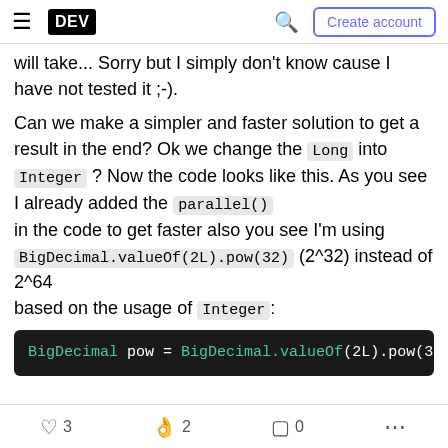DEV — Create account
will take... Sorry but I simply don't know cause I have not tested it ;-).
Can we make a simpler and faster solution to get a result in the end? Ok we change the Long into Integer ? Now the code looks like this. As you see I already added the parallel() in the code to get faster also you see I'm using BigDecimal.valueOf(2L).pow(32) (2^32) instead of 2^64 based on the usage of Integer:
[Figure (screenshot): Code block showing: BigDecimal pow = BigDecimal.valueOf(2L).pow(32) on dark background]
3 likes  2 reactions  0 bookmarks  more options